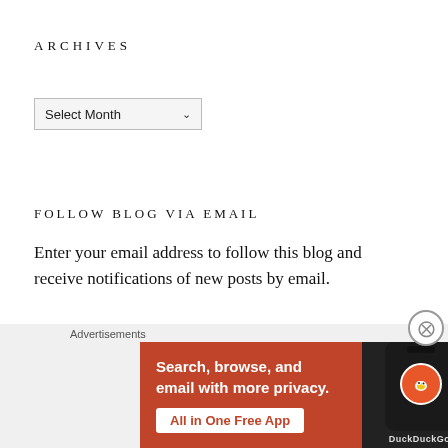ARCHIVES
[Figure (screenshot): Dropdown select box labeled 'Select Month' with a chevron arrow]
FOLLOW BLOG VIA EMAIL
Enter your email address to follow this blog and receive notifications of new posts by email.
[Figure (screenshot): Email input field with rounded border]
Advertisements
[Figure (screenshot): DuckDuckGo advertisement banner: 'Search, browse, and email with more privacy. All in One Free App' with DuckDuckGo duck logo on phone mockup]